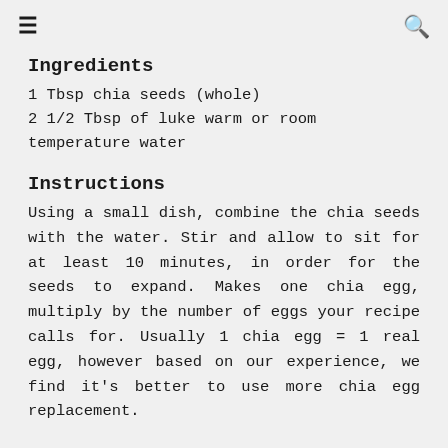≡  Q
Ingredients
1 Tbsp chia seeds (whole)
2 1/2 Tbsp of luke warm or room temperature water
Instructions
Using a small dish, combine the chia seeds with the water. Stir and allow to sit for at least 10 minutes, in order for the seeds to expand. Makes one chia egg, multiply by the number of eggs your recipe calls for. Usually 1 chia egg = 1 real egg, however based on our experience, we find it's better to use more chia egg replacement.